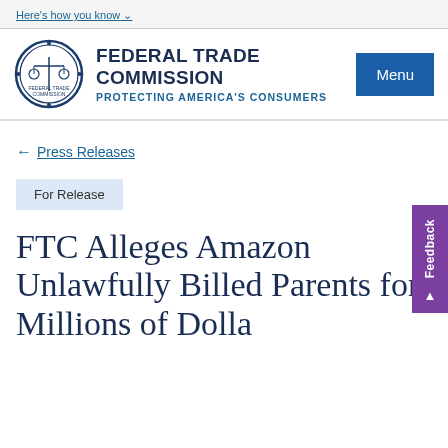Here's how you know
[Figure (logo): Federal Trade Commission seal/logo]
FEDERAL TRADE COMMISSION
PROTECTING AMERICA'S CONSUMERS
Menu
← Press Releases
Feedback
For Release
FTC Alleges Amazon Unlawfully Billed Parents for Millions of Dolla...